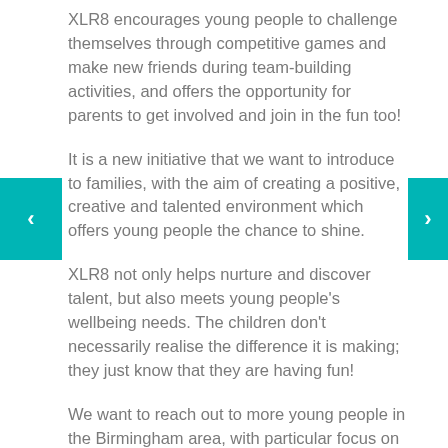XLR8 encourages young people to challenge themselves through competitive games and make new friends during team-building activities, and offers the opportunity for parents to get involved and join in the fun too!
It is a new initiative that we want to introduce to families, with the aim of creating a positive, creative and talented environment which offers young people the chance to shine.
XLR8 not only helps nurture and discover talent, but also meets young people's wellbeing needs. The children don't necessarily realise the difference it is making; they just know that they are having fun!
We want to reach out to more young people in the Birmingham area, with particular focus on East Birmingham.